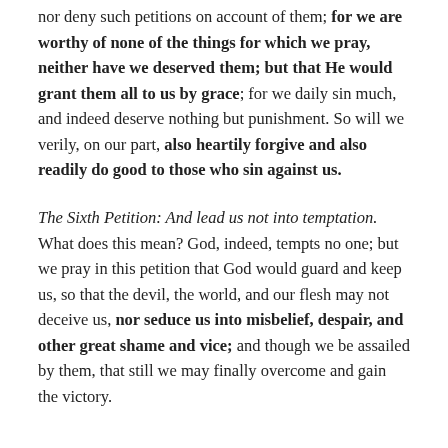nor deny such petitions on account of them; for we are worthy of none of the things for which we pray, neither have we deserved them; but that He would grant them all to us by grace; for we daily sin much, and indeed deserve nothing but punishment. So will we verily, on our part, also heartily forgive and also readily do good to those who sin against us.
The Sixth Petition: And lead us not into temptation. What does this mean? God, indeed, tempts no one; but we pray in this petition that God would guard and keep us, so that the devil, the world, and our flesh may not deceive us, nor seduce us into misbelief, despair, and other great shame and vice; and though we be assailed by them, that still we may finally overcome and gain the victory.